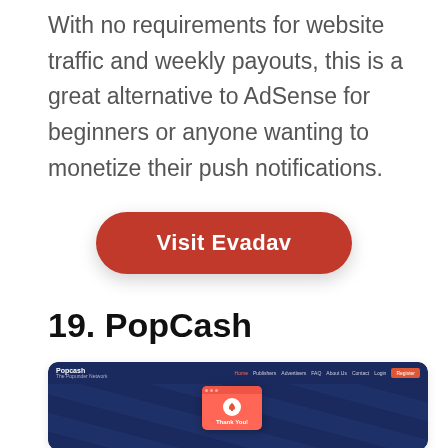With no requirements for website traffic and weekly payouts, this is a great alternative to AdSense for beginners or anyone wanting to monetize their push notifications.
[Figure (other): Red rounded button labeled 'Visit Evadav']
19. PopCash
[Figure (screenshot): Screenshot of PopCash website showing dark blue navigation bar with logo and menu items (Home, Publishers, Advertisers, FAQ, About Us, Contact, Login, Register), and a red popup card with a thank you message against a dark blue striped background.]